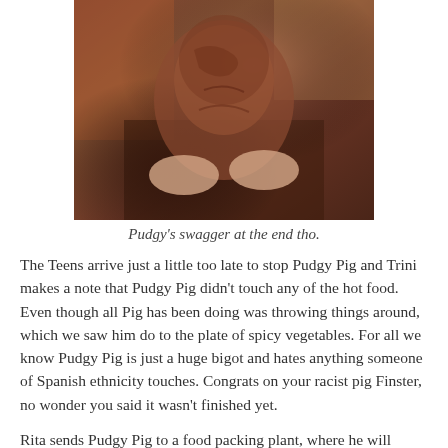[Figure (photo): A close-up photo of a creature (Pudgy Pig character) being held by human hands, brownish-red skin, alien/monster-like appearance]
Pudgy's swagger at the end tho.
The Teens arrive just a little too late to stop Pudgy Pig and Trini makes a note that Pudgy Pig didn't touch any of the hot food. Even though all Pig has been doing was throwing things around, which we saw him do to the plate of spicy vegetables. For all we know Pudgy Pig is just a huge bigot and hates anything someone of Spanish ethnicity touches. Congrats on your racist pig Finster, no wonder you said it wasn't finished yet.
Rita sends Pudgy Pig to a food packing plant, where he will likely devour the paperwork the workers have to fill out, someone's hat, and throw around a couple sandwiches. The